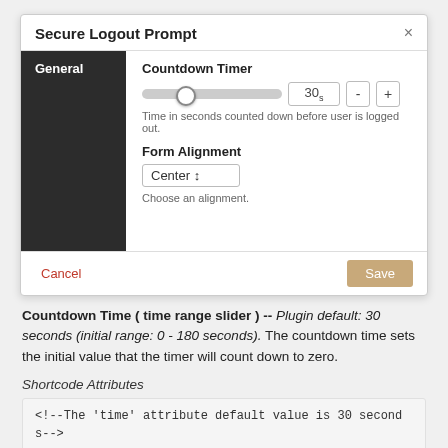[Figure (screenshot): Secure Logout Prompt modal dialog with General tab selected, showing Countdown Timer slider set to 30s with minus and plus buttons, hint text 'Time in seconds counted down before user is logged out.', Form Alignment dropdown showing Center, hint text 'Choose an alignment.', Cancel and Save buttons at bottom.]
Countdown Time ( time range slider ) -- Plugin default: 30 seconds (initial range: 0 - 180 seconds). The countdown time sets the initial value that the timer will count down to zero.
Shortcode Attributes
<!--The 'time' attribute default value is 30 second
s-->